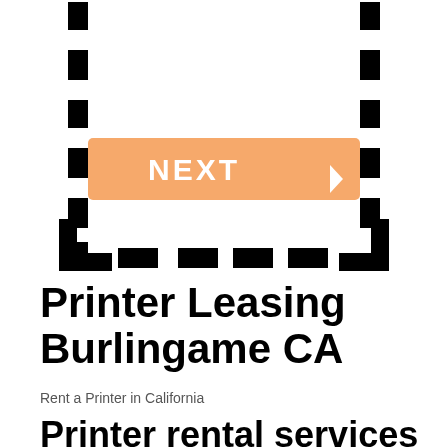[Figure (other): Dashed rectangular border with a Next button (orange/salmon colored button with NEXT ▷ text in white) inside]
Printer Leasing Burlingame CA
Rent a Printer in California
Printer rental services